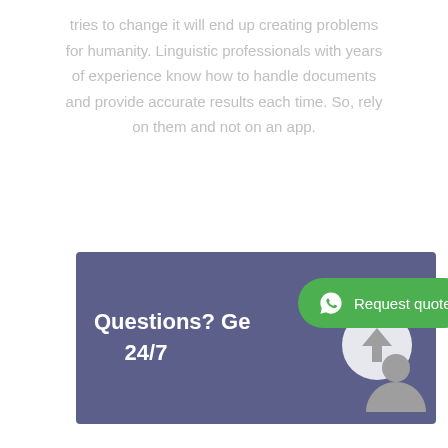tries to change it will end up creating problems for humanity. Linguistic professionals with years of experience know how to handle documents and provide accurate results each time. So, rely on them and not on an app.
[Figure (infographic): Purple banner with bold white text 'Questions? Get 24/7' partially obscured by a green WhatsApp 'Request quote' button and a person/upload icon widget on the right side.]